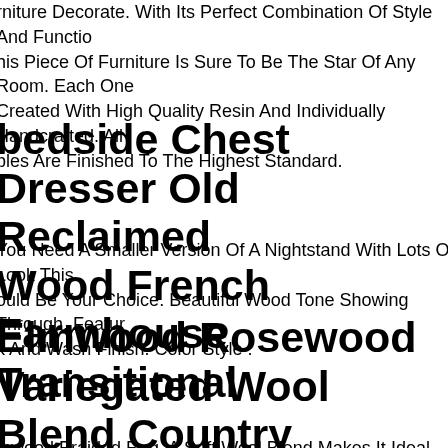rniture Decorate. With Its Perfect Combination Of Style And Functio his Piece Of Furniture Is Sure To Be The Star Of Any Room. Each One Created With High Quality Resin And Individually Handcrafted. All bles Are Finished To The Highest Standard.
bedside Chest Dresser Old Reclaimed Wood French Farmhouse Transitional
You Need A Smaller Version Of A Nightstand With Lots Of Look This ould Be Your Choice. Beautiful Wood Tone Showing Through. Featur k And Wash Finish. Color Style .
Elmwood Rosewood Variegated Wool Blend Country Farmhouse Oval Round Braided Rug
mwood Braided Rug. A Soft Wool Blend Makes It Ideal For Bedroo